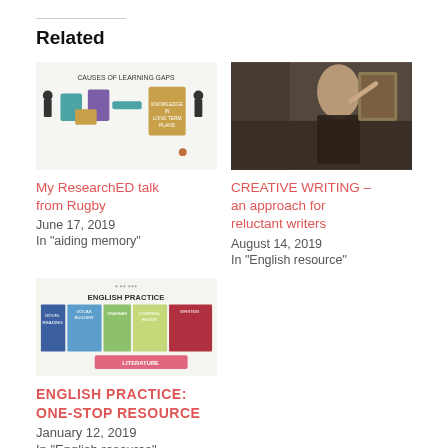Related
[Figure (infographic): Diagram titled 'CAUSES OF LEARNING GAPS' showing a flowchart with human figures on each side, colored boxes representing steps, and an outcome box labeled 'KNOWLEDGE IN LONG TERM PLANS']
My ResearchED talk from Rugby
June 17, 2019
In "aiding memory"
[Figure (photo): Dark painting-like image of a woman in a dark dress reaching toward a framed artwork on a stone wall]
CREATIVE WRITING – an approach for reluctant writers
August 14, 2019
In "English resource"
[Figure (infographic): Infographic titled 'ENGLISH PRACTICE' showing a colorful table with columns: Novel Reading (blue), Vocab Builder (light blue), Grammar (green), Comprehension (yellow-green), Writing (dark red), and a bottom row labeled 'LITERATURE' in pink]
ENGLISH PRACTICE: ONE-STOP RESOURCE
January 12, 2019
In "English resource"